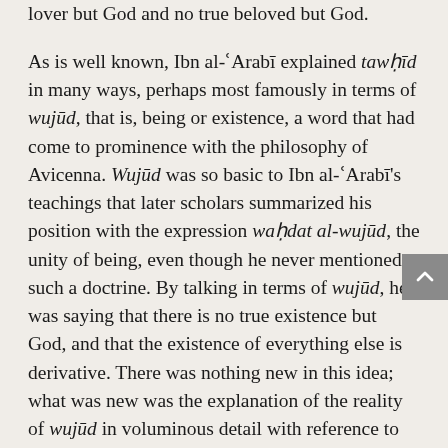lover but God and no true beloved but God.

As is well known, Ibn al-ʿArabī explained tawḥīd in many ways, perhaps most famously in terms of wujūd, that is, being or existence, a word that had come to prominence with the philosophy of Avicenna. Wujūd was so basic to Ibn al-ʿArabī's teachings that later scholars summarized his position with the expression waḥdat al-wujūd, the unity of being, even though he never mentioned such a doctrine. By talking in terms of wujūd, he was saying that there is no true existence but God, and that the existence of everything else is derivative. There was nothing new in this idea; what was new was the explanation of the reality of wujūd in voluminous detail with reference to the Quran and the Sunna.

A basic implication of God's monopoly on true being is that we as creatures cannot claim to have